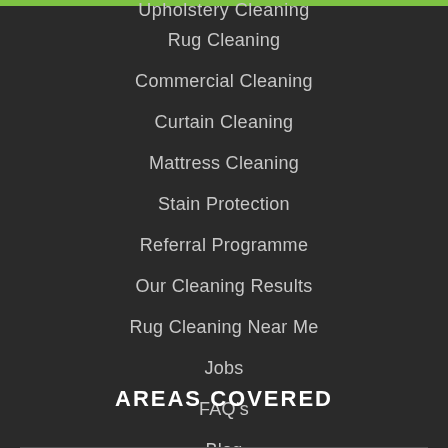Upholstery Cleaning
Rug Cleaning
Commercial Cleaning
Curtain Cleaning
Mattress Cleaning
Stain Protection
Referral Programme
Our Cleaning Results
Rug Cleaning Near Me
Jobs
FAQ's
Blog
AREAS COVERED